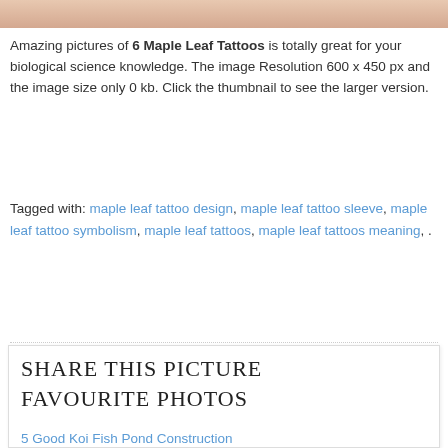[Figure (photo): Partial view of a skin/tattoo photo strip at the top of the page]
Amazing pictures of 6 Maple Leaf Tattoos is totally great for your biological science knowledge. The image Resolution 600 x 450 px and the image size only 0 kb. Click the thumbnail to see the larger version.
Tagged with: maple leaf tattoo design, maple leaf tattoo sleeve, maple leaf tattoo symbolism, maple leaf tattoos, maple leaf tattoos meaning, .
SHARE THIS PICTURE
FAVOURITE PHOTOS
5 Good Koi Fish Pond Construction
7 Amazing Cockatiel Eggs
7 Gorgeous Yellow Collared Macaw
6 Maple Leaf Tattoos